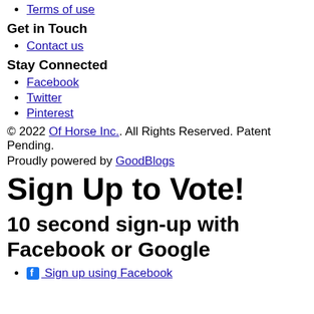Terms of use
Get in Touch
Contact us
Stay Connected
Facebook
Twitter
Pinterest
© 2022 Of Horse Inc.. All Rights Reserved. Patent Pending.
Proudly powered by GoodBlogs
Sign Up to Vote!
10 second sign-up with Facebook or Google
Sign up using Facebook